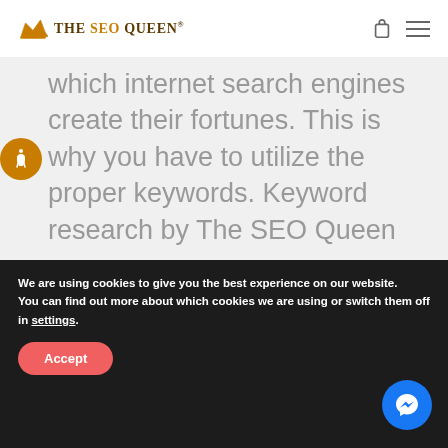The SEO Queen®
which internet search engines create their fortunes. This is why you have to utilize the proper keywords. Keyword research by The SEO Queen
We are using cookies to give you the best experience on our website.
You can find out more about which cookies we are using or switch them off in settings.
Accept